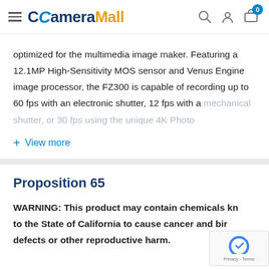CameraMall
optimized for the multimedia image maker. Featuring a 12.1MP High-Sensitivity MOS sensor and Venus Engine image processor, the FZ300 is capable of recording up to 60 fps with an electronic shutter, 12 fps with a mechanical shutter, or 30 fps using the unique 4K Photo
+ View more
Proposition 65
WARNING: This product may contain chemicals kn to the State of California to cause cancer and bir defects or other reproductive harm.